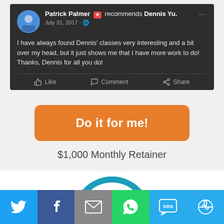[Figure (screenshot): Facebook post screenshot: Patrick Palmer recommends Dennis Yu. July 31, 2017. Text: 'I have always found Dennis' classes very interesting and a bit over my head, but it just shows me that I have more work to do!  Thanks, Dennis for all you do!' With Like, Comment, Share actions on dark background.]
[Figure (infographic): Orange rounded rectangle button with text 'Do it for me!' and below it '$1,000 Monthly Retainer' on a light gray background]
[Figure (infographic): Bottom social sharing bar with Twitter, Facebook, Email, WhatsApp, SMS, and share icons on colored backgrounds. Above it, a partial view of a teal/blue circular chart or logo.]